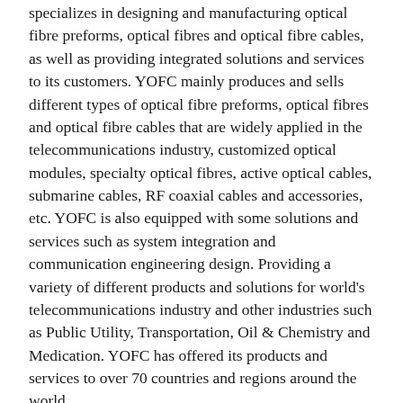specializes in designing and manufacturing optical fibre preforms, optical fibres and optical fibre cables, as well as providing integrated solutions and services to its customers. YOFC mainly produces and sells different types of optical fibre preforms, optical fibres and optical fibre cables that are widely applied in the telecommunications industry, customized optical modules, specialty optical fibres, active optical cables, submarine cables, RF coaxial cables and accessories, etc. YOFC is also equipped with some solutions and services such as system integration and communication engineering design. Providing a variety of different products and solutions for world's telecommunications industry and other industries such as Public Utility, Transportation, Oil & Chemistry and Medication. YOFC has offered its products and services to over 70 countries and regions around the world.
https://en.yofc.com/
SOURCE YOFC
For further information: Mr.Xiao Chang, Brand Marketing